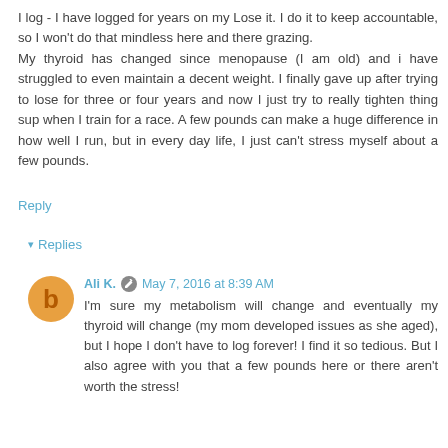I log - I have logged for years on my Lose it. I do it to keep accountable, so I won't do that mindless here and there grazing.
My thyroid has changed since menopause (I am old) and i have struggled to even maintain a decent weight. I finally gave up after trying to lose for three or four years and now I just try to really tighten thing sup when I train for a race. A few pounds can make a huge difference in how well I run, but in every day life, I just can't stress myself about a few pounds.
Reply
▾ Replies
Ali K.  May 7, 2016 at 8:39 AM
I'm sure my metabolism will change and eventually my thyroid will change (my mom developed issues as she aged), but I hope I don't have to log forever! I find it so tedious. But I also agree with you that a few pounds here or there aren't worth the stress!